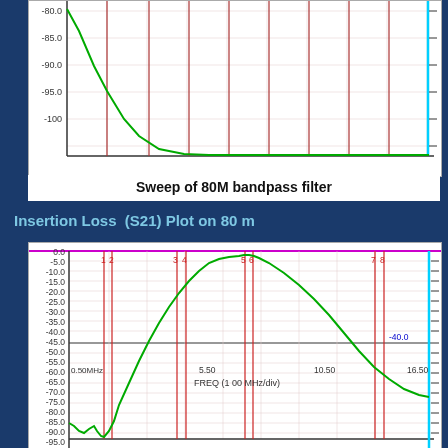[Figure (continuous-plot): Top portion of S21 sweep plot of 80M bandpass filter showing y-axis from -80 to -100 dB range, with green curve line, red vertical marker lines, and a cyan vertical line at right edge]
Sweep of 80M bandpass filter
Insertion Loss  (S21) Plot on 80 m
[Figure (continuous-plot): S21 insertion loss plot for 80m bandpass filter. Y-axis from 0 to -100 dB. X-axis FREQ (1 00 MHz/div) from 0.50 MHz to 16.50. Bell-shaped green curve peaking near -2 dB around 5-6 MHz, dropping to about -95 dB at low frequencies. Numbered red vertical marker lines labeled 1-8. Horizontal reference line at -40.0. Cyan vertical line at right. Label '0.50MHz' at lower left, '5.50', '10.50', '16.50' along x-axis.]